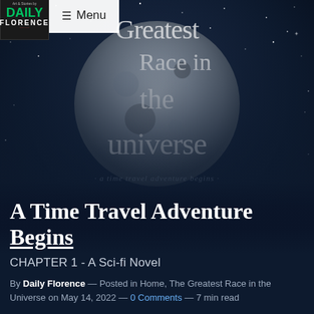[Figure (illustration): Dark space/night sky background with a large grey moon and star field, with large decorative white script text reading 'Greatest Race in the universe' overlaid on top. A dark silhouette of a person is visible at the bottom. Subtitle text reads 'a time travel adventure begins'.]
≡ Menu
A Time Travel Adventure Begins
CHAPTER 1 - A Sci-fi Novel
By Daily Florence — Posted in Home, The Greatest Race in the Universe on May 14, 2022 — 0 Comments — 7 min read